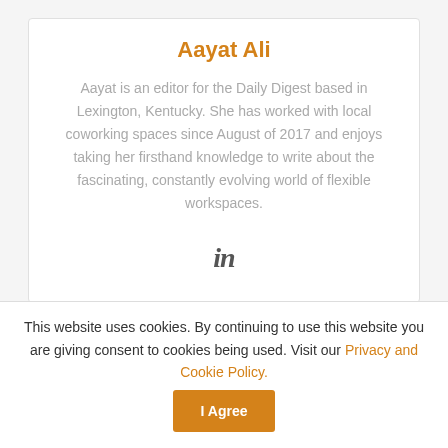Aayat Ali
Aayat is an editor for the Daily Digest based in Lexington, Kentucky. She has worked with local coworking spaces since August of 2017 and enjoys taking her firsthand knowledge to write about the fascinating, constantly evolving world of flexible workspaces.
[Figure (logo): LinkedIn 'in' logo icon in italic serif font]
Relevant and Recommended For You
The Four-Day Work Week Is Great, But Not A One-Size-Fits-All Solution
This website uses cookies. By continuing to use this website you are giving consent to cookies being used. Visit our Privacy and Cookie Policy.